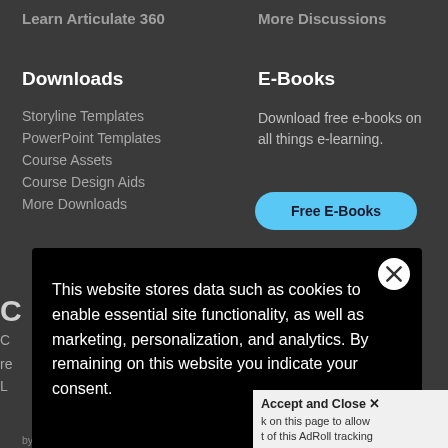Learn Articulate 360
More Discussions
Downloads
Storyline Templates
PowerPoint Templates
Course Assets
Course Design Aids
More Downloads
E-Books
Download free e-books on all things e-learning.
Free E-Books
This website stores data such as cookies to enable essential site functionality, as well as marketing, personalization, and analytics. By remaining on this website you indicate your consent.
Privacy Notice
Accept and Close ×
k on this page to allow t of this AdRoll tracking